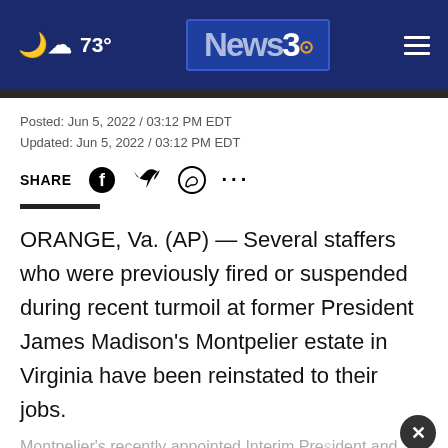73° News3
Posted: Jun 5, 2022 / 03:12 PM EDT
Updated: Jun 5, 2022 / 03:12 PM EDT
SHARE
ORANGE, Va. (AP) — Several staffers who were previously fired or suspended during recent turmoil at former President James Madison's Montpelier estate in Virginia have been reinstated to their jobs.
Montpelier's recently appointed Interim President and CEO E... ff
[Figure (photo): Advertisement banner showing group of people in matching shirts with text: ALL DONATIONS BENEFIT LOCAL VETERANS IN GEORGIA AND PHENIX CITY. DONATE NOW!]